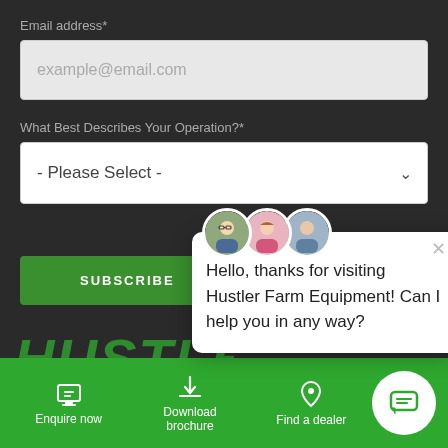Email address*
example@email.com
What Best Describes Your Operation?*
- Please Select -
SUBSCRIBE
[Figure (screenshot): Chat popup with three avatar photos, a close button, and the message: Hello, thanks for visiting Hustler Farm Equipment! Can I help you in any way?]
Hello, thanks for visiting Hustler Farm Equipment! Can I help you in any way?
[Figure (logo): HUSTLER logo in green italic bold font with registered trademark symbol]
Enquire now
Download brochure
Find a dealer